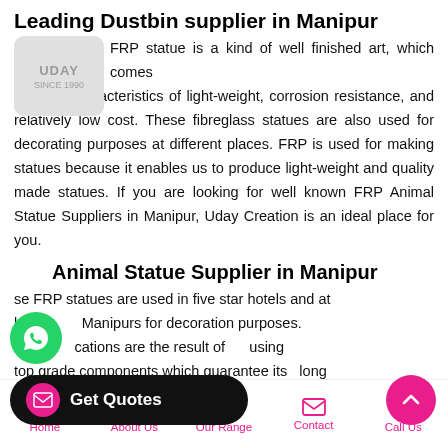Leading Dustbin supplier in Manipur
[Figure (logo): Company logo with 'SINCE 1990' text on grey rounded rectangle background]
FRP statue is a kind of well finished art, which comes with the characteristics of light-weight, corrosion resistance, and relatively low cost. These fibreglass statues are also used for decorating purposes at different places. FRP is used for making statues because it enables us to produce light-weight and quality made statues. If you are looking for well known FRP Animal Statue Suppliers in Manipur, Uday Creation is an ideal place for you.
Animal Statue Supplier in Manipur
These FRP statues are used in five star hotels and at locations in Manipurs for decoration purposes. The specifications are the result of using top grade components which guarantee its long
[Figure (other): WhatsApp contact button (green circle with phone icon)]
[Figure (other): Get Quotes button (dark pill-shaped with pink envelope icon)]
[Figure (other): Scroll to top button (pink circle with up arrow)]
Home  About Us  Our Range  Contact  Call Us